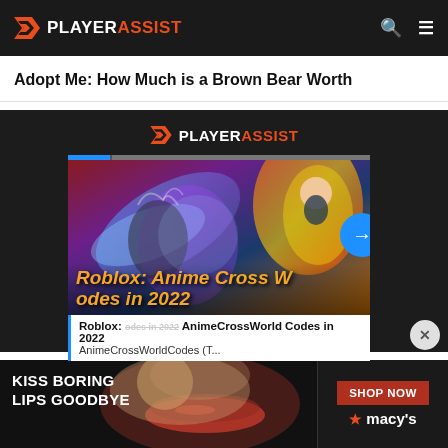PLAYERASSIST
Adopt Me: How Much is a Brown Bear Worth
[Figure (screenshot): PlayerAssist logo on dark background with animated promo card showing Roblox Anime Cross World Codes in 2022, with progress bar at top and arrow navigation button]
Roblox: Anime Cross W...d odes in 2022
Roblox: AnimeCrossWorldCodes (T...
[Figure (photo): Advertisement banner: KISS BORING LIPS GOODBYE with red lips photo, SHOP NOW button and Macy's star logo]